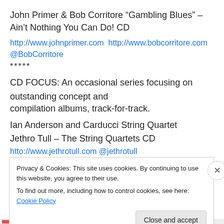John Primer & Bob Corritore “Gambling Blues” – Ain’t Nothing You Can Do! CD
http://www.johnprimer.com http://www.bobcorritore.com @BobCorritore
*****
CD FOCUS: An occasional series focusing on outstanding concept and compilation albums, track-for-track.
Ian Anderson and Carducci String Quartet
Jethro Tull – The String Quartets CD
htto://www.jethrotull.com @jethrotull
Privacy & Cookies: This site uses cookies. By continuing to use this website, you agree to their use.
To find out more, including how to control cookies, see here: Cookie Policy
Close and accept